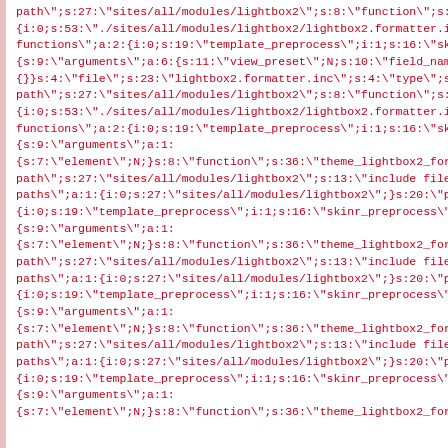path";s:27:"sites/all/modules/lightbox2";s:8:"function";s:36:"theme {i:0;s:53:"./sites/all/modules/lightbox2/lightbox2.formatter.inc";}s:11:" functions";a:2:{i:0;s:19:"template_preprocess";i:1;s:16:"skinr_prepr {s:9:"arguments";a:6:{s:11:"view_preset";N;s:10:"field_name";N;s: {}}s:4:"file";s:23:"lightbox2.formatter.inc";s:4:"type";s:6:"module" path";s:27:"sites/all/modules/lightbox2";s:8:"function";s:43:"theme {i:0;s:53:"./sites/all/modules/lightbox2/lightbox2.formatter.inc";}s:11:" functions";a:2:{i:0;s:19:"template_preprocess";i:1;s:16:"skinr_prepr {s:9:"arguments";a:1: {s:7:"element";N;}s:8:"function";s:36:"theme_lightbox2_formatter_i path";s:27:"sites/all/modules/lightbox2";s:13:"include files";a:1:{i:0: paths";a:1:{i:0;s:27:"sites/all/modules/lightbox2";}s:20:"preprocess f {i:0;s:19:"template_preprocess";i:1;s:16:"skinr_preprocess";}}s:55:" {s:9:"arguments";a:1: {s:7:"element";N;}s:8:"function";s:36:"theme_lightbox2_formatter_i path";s:27:"sites/all/modules/lightbox2";s:13:"include files";a:1:{i:0: paths";a:1:{i:0;s:27:"sites/all/modules/lightbox2";}s:20:"preprocess f {i:0;s:19:"template_preprocess";i:1;s:16:"skinr_preprocess";}}s:60:" {s:9:"arguments";a:1: {s:7:"element";N;}s:8:"function";s:36:"theme_lightbox2_formatter_i path";s:27:"sites/all/modules/lightbox2";s:13:"include files";a:1:{i:0: paths";a:1:{i:0;s:27:"sites/all/modules/lightbox2";}s:20:"preprocess f {i:0;s:19:"template_preprocess";i:1;s:16:"skinr_preprocess";}}s:68:" {s:9:"arguments";a:1: {s:7:"element";N;}s:8:"function";s:36:"theme_lightbox2_formatter_